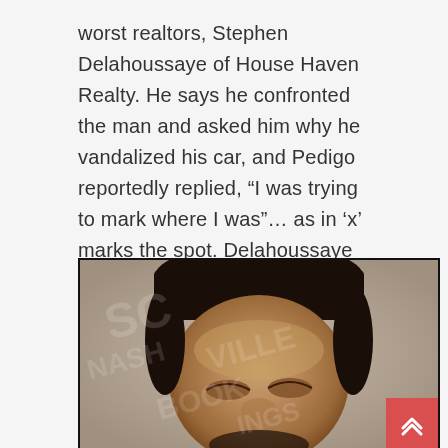worst realtors, Stephen Delahoussaye of House Haven Realty. He says he confronted the man and asked him why he vandalized his car, and Pedigo reportedly replied, “I was trying to mark where I was”… as in ‘x’ marks the spot. Delahoussaye provided a video of the crime to police, and Pedigo was taken into custody as he was still on the property.
[Figure (photo): Mugshot photo of a person with braided hair, with a watermark overlay reading 'SC NASHVILLE BOOKINGS']